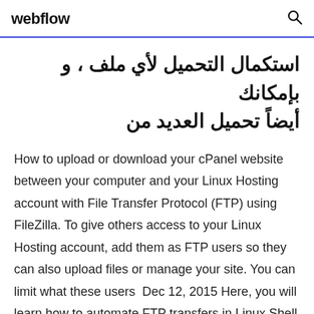webflow
استكمال التحميل لأي ملف ، و بإمكانك أيضاً تحميل العديد من
How to upload or download your cPanel website between your computer and your Linux Hosting account with File Transfer Protocol (FTP) using FileZilla. To give others access to your Linux Hosting account, add them as FTP users so they can also upload files or manage your site. You can limit what these users  Dec 12, 2015 Here, you will learn how to automate FTP transfers in Linux Shell You can use wildcards (*) to download all files with specific filename pattern  Feb 2, 2013 An FTP server and a telnet server are available for